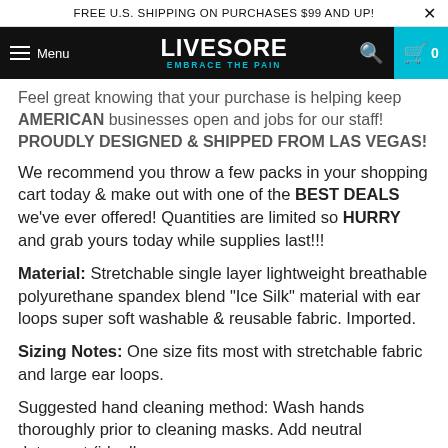FREE U.S. SHIPPING ON PURCHASES $99 AND UP!
Menu | LIVESORE EMBRACE THE PAIN | 0
Feel great knowing that your purchase is helping keep AMERICAN businesses open and jobs for our staff! PROUDLY DESIGNED & SHIPPED FROM LAS VEGAS!
We recommend you throw a few packs in your shopping cart today & make out with one of the BEST DEALS we've ever offered! Quantities are limited so HURRY and grab yours today while supplies last!!!
Material: Stretchable single layer lightweight breathable polyurethane spandex blend "Ice Silk" material with ear loops super soft washable & reusable fabric. Imported.
Sizing Notes: One size fits most with stretchable fabric and large ear loops.
Suggested hand cleaning method: Wash hands thoroughly prior to cleaning masks. Add neutral detergent (ideally